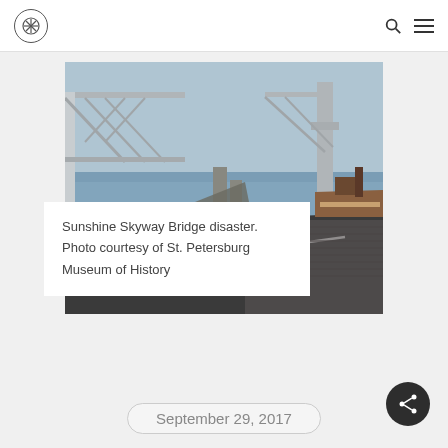Navigation logo, search icon, menu icon
[Figure (photo): Black and white photograph of the Sunshine Skyway Bridge disaster showing a car stopped near the collapsed bridge edge, with a ship visible on the water and broken bridge structure in the background.]
Sunshine Skyway Bridge disaster. Photo courtesy of St. Petersburg Museum of History
September 29, 2017